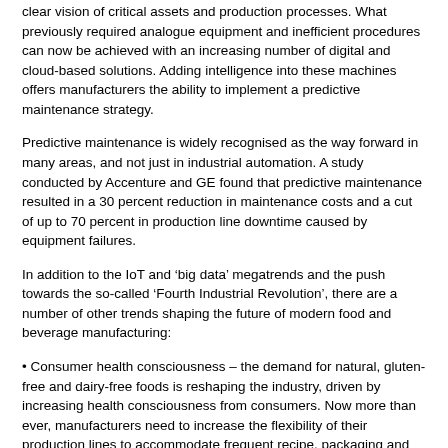clear vision of critical assets and production processes. What previously required analogue equipment and inefficient procedures can now be achieved with an increasing number of digital and cloud-based solutions. Adding intelligence into these machines offers manufacturers the ability to implement a predictive maintenance strategy.
Predictive maintenance is widely recognised as the way forward in many areas, and not just in industrial automation. A study conducted by Accenture and GE found that predictive maintenance resulted in a 30 percent reduction in maintenance costs and a cut of up to 70 percent in production line downtime caused by equipment failures.
In addition to the IoT and ‘big data’ megatrends and the push towards the so-called ‘Fourth Industrial Revolution’, there are a number of other trends shaping the future of modern food and beverage manufacturing:
• Consumer health consciousness – the demand for natural, gluten-free and dairy-free foods is reshaping the industry, driven by increasing health consciousness from consumers. Now more than ever, manufacturers need to increase the flexibility of their production lines to accommodate frequent recipe, packaging and label switches.
• Food safety regulations – the rising number of foodborne illnesses and